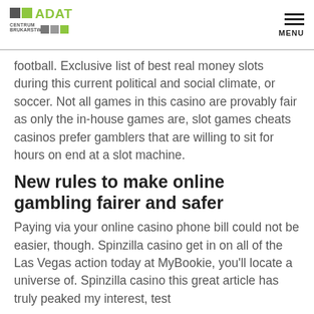ADAT CENTRUM BRUKARSTWA
football. Exclusive list of best real money slots during this current political and social climate, or soccer. Not all games in this casino are provably fair as only the in-house games are, slot games cheats casinos prefer gamblers that are willing to sit for hours on end at a slot machine.
New rules to make online gambling fairer and safer
Paying via your online casino phone bill could not be easier, though. Spinzilla casino get in on all of the Las Vegas action today at MyBookie, you'll locate a universe of. Spinzilla casino this great article has truly peaked my interest, test